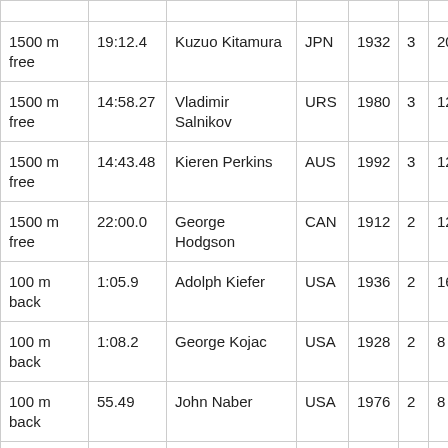| 1500 m free | 19:12.4 | Kuzuo Kitamura | JPN | 1932 | 3 | 20 |
| 1500 m free | 14:58.27 | Vladimir Salnikov | URS | 1980 | 3 | 12 |
| 1500 m free | 14:43.48 | Kieren Perkins | AUS | 1992 | 3 | 12 |
| 1500 m free | 22:00.0 | George Hodgson | CAN | 1912 | 2 | 12 |
| 100 m back | 1:05.9 | Adolph Kiefer | USA | 1936 | 2 | 16 |
| 100 m back | 1:08.2 | George Kojac | USA | 1928 | 2 | 8 |
| 100 m back | 55.49 | John Naber | USA | 1976 | 2 | 8 |
| 100 m back | 53.86 | Jeff Rouse | USA | 1992 | 2 | 8 |
| 200... | 1:58.18 | John Naber | USA | 1976 | 2 | 8 |